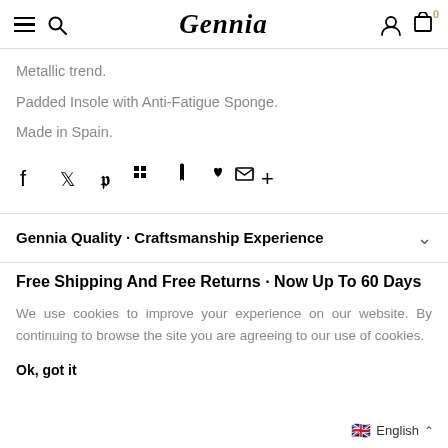Gennia — navigation header with hamburger, search, logo, user, cart
Metallic trend.
Padded Insole with Anti-Fatigue Sponge.
Made in Spain.
[Figure (infographic): Social share icons: facebook, twitter, pinterest, grid/apps, bookmark, heart, mail, plus]
Gennia Quality - Craftsmanship Experience
Free Shipping And Free Returns - Now Up To 60 Days
We use cookies to improve your experience on our website. By continuing to browse the site you are agreeing to our use of cookies.
Ok, got it
English